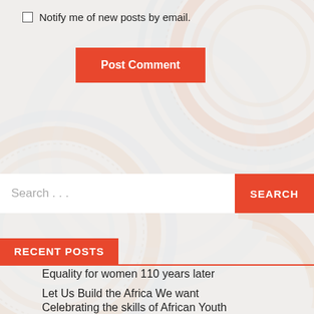Notify me of new posts by email.
Post Comment
Search ...
SEARCH
RECENT POSTS
Equality for women 110 years later
Let Us Build the Africa We want
Nature Provides Answers to Achieving SDG 2 In Uganda
Celebrating the skills of African Youth